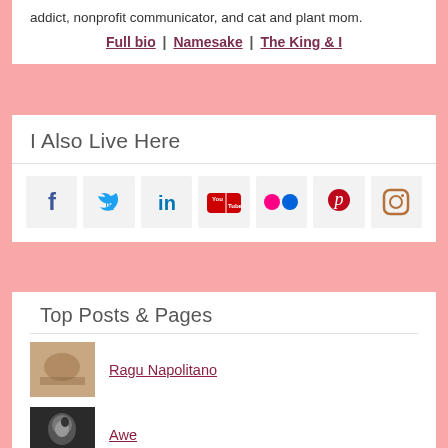addict, nonprofit communicator, and cat and plant mom.
Full bio | Namesake | The King & I
I Also Live Here
[Figure (infographic): Row of 7 social media icon buttons: Facebook (f), Twitter (bird), LinkedIn (in), YouTube (You/Tube), Flickr (two dots), Pinterest (P), Instagram (camera)]
Top Posts & Pages
Ragu Napolitano
Awe